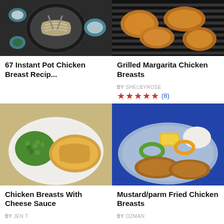[Figure (photo): Top-down view of pasta dish in white bowl with fork and sides]
67 Instant Pot Chicken Breast Recip...
[Figure (photo): Grilled chicken breasts on a grill grate]
Grilled Margarita Chicken Breasts
BY SHELBYROSE
[Figure (other): 5 red stars rating with (8) review count]
[Figure (photo): Chicken with cheese sauce and green peas on white plate]
Chicken Breasts With Cheese Sauce
BY JEN T
[Figure (other): Partial star rating]
[Figure (photo): Fried chicken breasts on blue plate with corn and pepper rings]
Mustard/parm Fried Chicken Breasts
BY OZMAN
[Figure (other): Partial star rating]